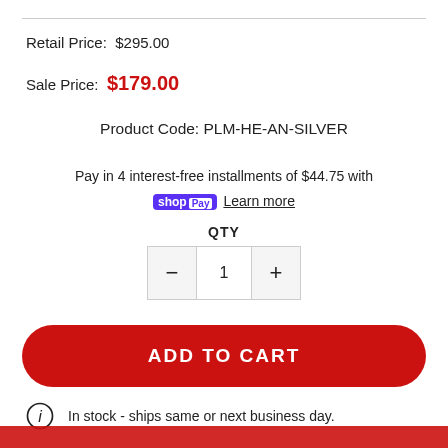Retail Price: $295.00
Sale Price: $179.00
Product Code: PLM-HE-AN-SILVER
Pay in 4 interest-free installments of $44.75 with shop Pay Learn more
QTY
1
ADD TO CART
In stock - ships same or next business day.